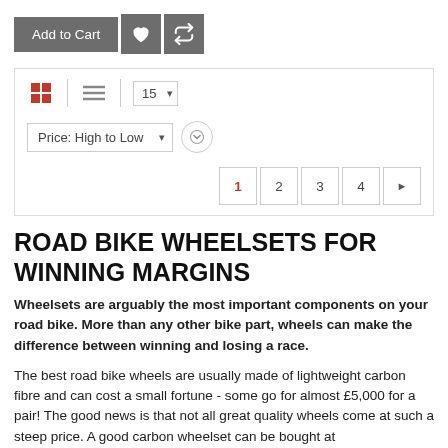[Figure (screenshot): E-commerce UI: Add to Cart button with heart and retweet icon buttons, a product filter/sort bar with grid/list view toggle, per-page selector showing 15, a Price: High to Low sort dropdown, and pagination controls (1 2 3 4 >)]
ROAD BIKE WHEELSETS FOR WINNING MARGINS
Wheelsets are arguably the most important components on your road bike. More than any other bike part, wheels can make the difference between winning and losing a race.
The best road bike wheels are usually made of lightweight carbon fibre and can cost a small fortune - some go for almost £5,000 for a pair! The good news is that not all great quality wheels come at such a steep price. A good carbon wheelset can be bought at